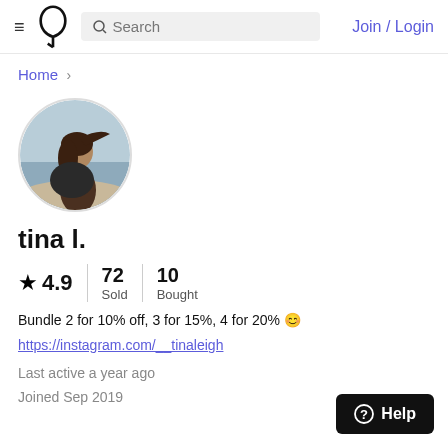≡ [logo] Search  Join / Login
Home >
[Figure (photo): Circular profile photo of a woman at the beach]
tina l.
★ 4.9  |  72 Sold  |  10 Bought
Bundle 2 for 10% off, 3 for 15%, 4 for 20% 🙂
https://instagram.com/__tinaleigh
Last active a year ago
Joined Sep 2019